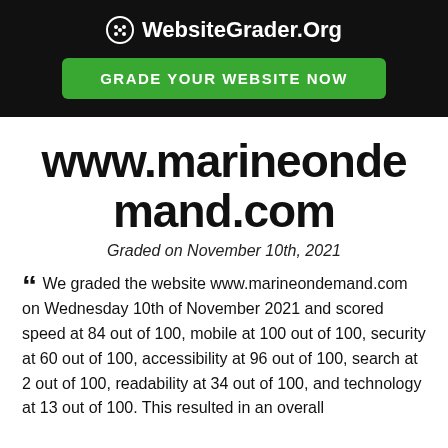WebsiteGrader.Org
GRADE YOUR WEBSITE NOW
www.marineondemand.com
Graded on November 10th, 2021
“ We graded the website www.marineondemand.com on Wednesday 10th of November 2021 and scored speed at 84 out of 100, mobile at 100 out of 100, security at 60 out of 100, accessibility at 96 out of 100, search at 2 out of 100, readability at 34 out of 100, and technology at 13 out of 100. This resulted in an overall